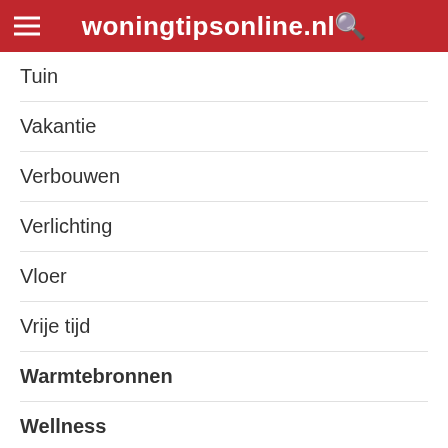woningtipsonline.nl
Tuin
Vakantie
Verbouwen
Verlichting
Vloer
Vrije tijd
Warmtebronnen
Wellness
We gebruiken cookies op onze website om u de meest relevante ervaring te bieden door uw voorkeuren en herhaalbezoeken te onthouden. Door op "Accepteren" te klikken, stemt u in met het gebruik van ALLE cookies.
Cookie instellingen   ACCEPTEREN